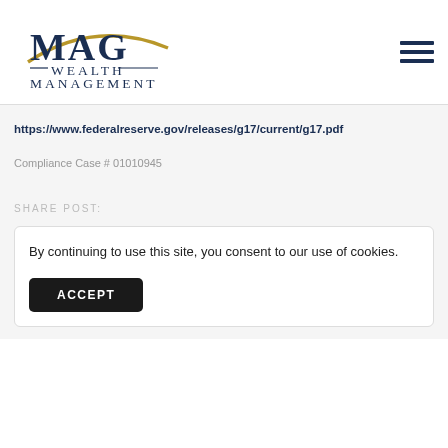[Figure (logo): MAG Wealth Management logo with stylized arc above 'MAG' text and 'WEALTH MANAGEMENT' below]
https://www.federalreserve.gov/releases/g17/current/g17.pdf
Compliance Case # 01010945
SHARE POST:
By continuing to use this site, you consent to our use of cookies.
ACCEPT